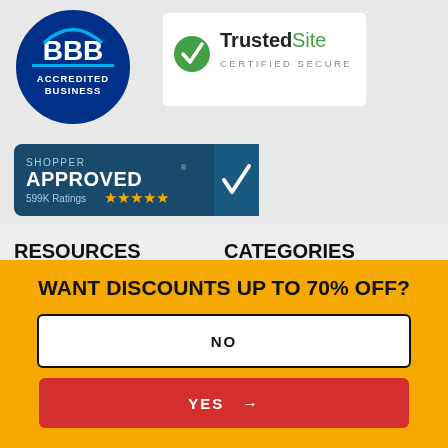[Figure (logo): BBB Accredited Business badge - blue circular logo with BBB letters and 'ACCREDITED BUSINESS' text]
[Figure (logo): TrustedSite Certified Secure badge - white rectangle with green checkmark and 'TrustedSite CERTIFIED SECURE' text]
[Figure (logo): Shopper Approved badge with '599K Ratings' and 5 gold stars]
RESOURCES
About Us
Customer Service
Privacy Policy
CATEGORIES
Pre-Sale & Coming Soon
BUDK Promo Codes
Knives
WANT DISCOUNTS UP TO 70% OFF?
NO
YES →